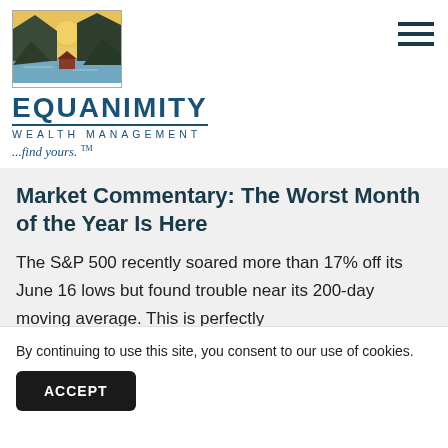[Figure (logo): Equanimity Wealth Management logo with mountain landscape painting above stylized text]
Market Commentary: The Worst Month of the Year Is Here
The S&P 500 recently soared more than 17% off its June 16 lows but found trouble near its 200-day moving average. This is perfectly
By continuing to use this site, you consent to our use of cookies.